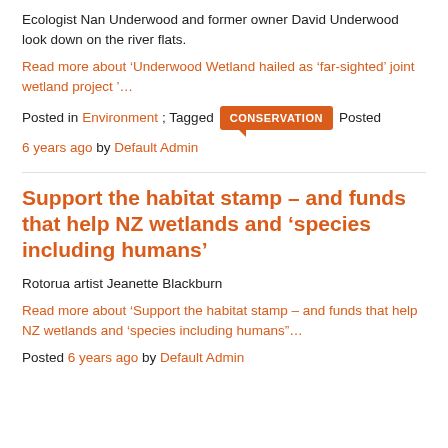Ecologist Nan Underwood and former owner David Underwood look down on the river flats.
Read more about ‘Underwood Wetland hailed as ‘far-sighted’ joint wetland project’…
Posted in Environment; Tagged CONSERVATION Posted
6 years ago by Default Admin
Support the habitat stamp – and funds that help NZ wetlands and ‘species including humans’
Rotorua artist Jeanette Blackburn
Read more about ‘Support the habitat stamp – and funds that help NZ wetlands and ‘species including humans”…
Posted 6 years ago by Default Admin